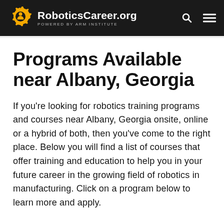RoboticsCareer.org — POWERED BY ARM INSTITUTE
Programs Available near Albany, Georgia
If you're looking for robotics training programs and courses near Albany, Georgia onsite, online or a hybrid of both, then you've come to the right place. Below you will find a list of courses that offer training and education to help you in your future career in the growing field of robotics in manufacturing. Click on a program below to learn more and apply.